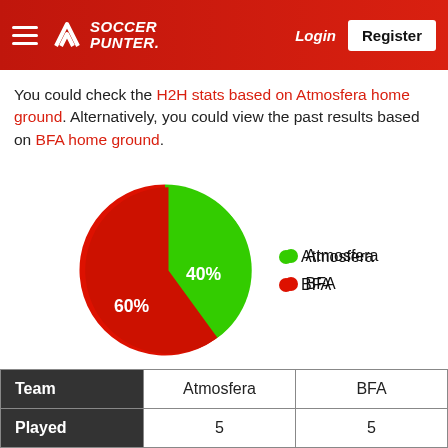SOCCER PUNTER. Login Register
You could check the H2H stats based on Atmosfera home ground. Alternatively, you could view the past results based on BFA home ground.
[Figure (pie-chart): ]
| Team | Atmosfera | BFA |
| --- | --- | --- |
| Played | 5 | 5 |